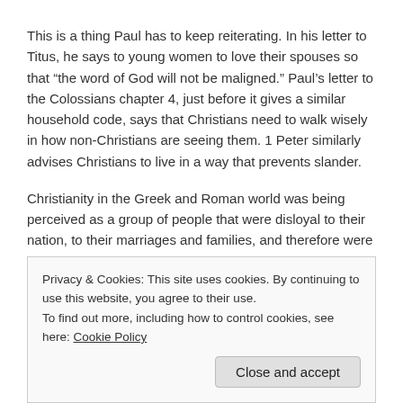This is a thing Paul has to keep reiterating. In his letter to Titus, he says to young women to love their spouses so that “the word of God will not be maligned.” Paul’s letter to the Colossians chapter 4, just before it gives a similar household code, says that Christians need to walk wisely in how non-Christians are seeing them. 1 Peter similarly advises Christians to live in a way that prevents slander.
Christianity in the Greek and Roman world was being perceived as a group of people that were disloyal to their nation, to their marriages and families, and therefore were out to ruin society. There were rumours that Christians were cannibals because they ate flesh and drank blood when they got together for worship. Christians were thought to be atheists because they refused to worship the gods of their communities.
Privacy & Cookies: This site uses cookies. By continuing to use this website, you agree to their use.
To find out more, including how to control cookies, see here: Cookie Policy